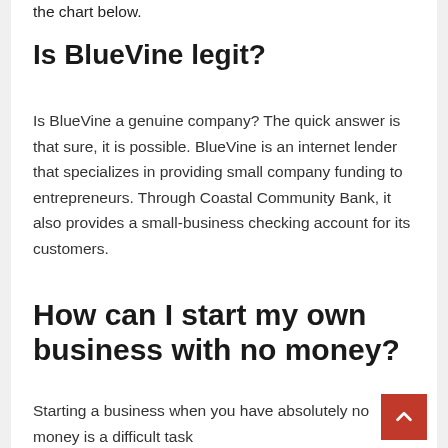the chart below.
Is BlueVine legit?
Is BlueVine a genuine company? The quick answer is that sure, it is possible. BlueVine is an internet lender that specializes in providing small company funding to entrepreneurs. Through Coastal Community Bank, it also provides a small-business checking account for its customers.
How can I start my own business with no money?
Starting a business when you have absolutely no money is a difficult task